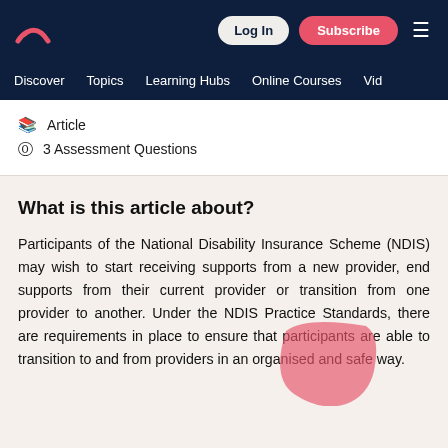Log In | Subscribe
Discover  Topics  Learning Hubs  Online Courses  Vid
Article
3 Assessment Questions
What is this article about?
Participants of the National Disability Insurance Scheme (NDIS) may wish to start receiving supports from a new provider, end supports from their current provider or transition from one provider to another. Under the NDIS Practice Standards, there are requirements in place to ensure that participants are able to transition to and from providers in an organised and safe way.